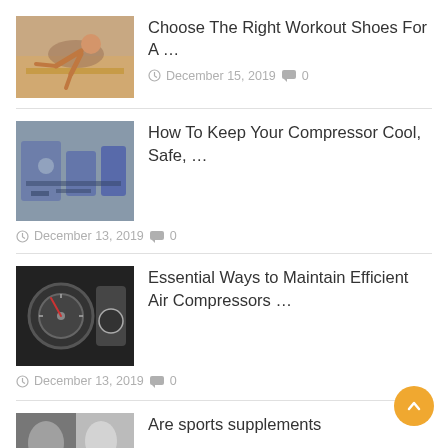[Figure (photo): Person doing pushups on a wooden floor]
Choose The Right Workout Shoes For A …
December 15, 2019  0
[Figure (photo): Industrial air compressor machine]
How To Keep Your Compressor Cool, Safe, …
December 13, 2019  0
[Figure (photo): Air compressor gauge close-up]
Essential Ways to Maintain Efficient Air Compressors …
December 13, 2019  0
[Figure (photo): Sports supplements related image]
Are sports supplements